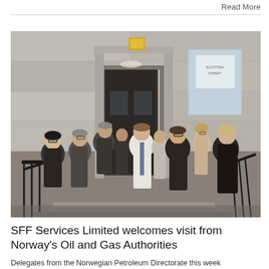Read More
[Figure (photo): Group photo of approximately 10 delegates standing in front of a stone building entrance with black iron railings. The individuals are dressed in business and smart casual attire. A sign on the building is partially visible.]
SFF Services Limited welcomes visit from Norway's Oil and Gas Authorities
Delegates from the Norwegian Petroleum Directorate this week